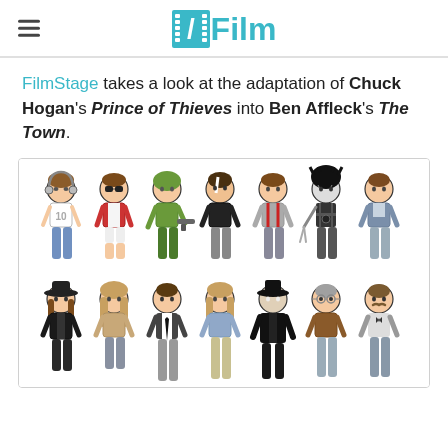/Film
FilmStage takes a look at the adaptation of Chuck Hogan's Prince of Thieves into Ben Affleck's The Town.
[Figure (illustration): Cartoon illustrations of multiple characters arranged in two rows. Top row shows seven stylized cartoon figures of different movie characters including someone with headphones, someone with sunglasses, a soldier with a gun, figures in various casual and action outfits, and a robot-like figure. Bottom row shows seven more cartoon figures including women with long hair, a figure in a suit with a tie, and other stylized characters.]